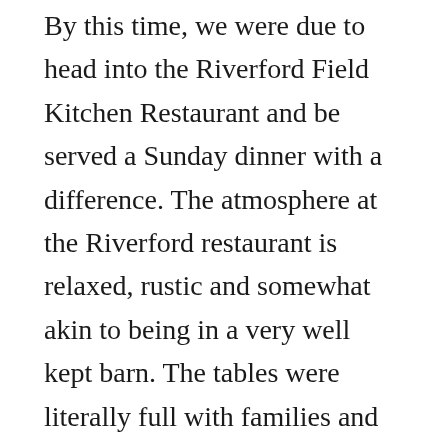By this time, we were due to head into the Riverford Field Kitchen Restaurant and be served a Sunday dinner with a difference.  The atmosphere at the Riverford restaurant is relaxed, rustic and somewhat akin to being in a very well kept barn.  The tables were literally full with families and parties celebrating important events in their lives like significant birthdays.
The vegetables really are the star of the show here and the menu was packed with course upon course of fresh organic produce from Riverford Farm.  The first to arrive was the incredibly crisp and colourful salad made from purple purple sprouting broccoli, ajo blanco pickled cucumber